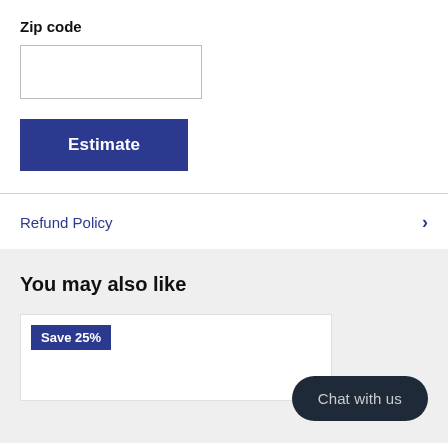Zip code
[Figure (other): Empty zip code input text field]
[Figure (other): Estimate button - dark blue rectangular button with white bold text 'Estimate']
Refund Policy
You may also like
[Figure (other): Product card with 'Save 25%' badge in blue]
Chat with us